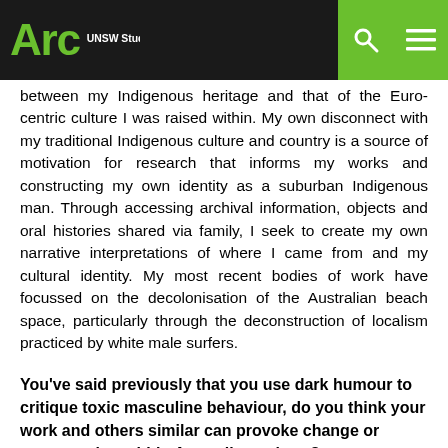Arc UNSW Student Life
between my Indigenous heritage and that of the Euro-centric culture I was raised within. My own disconnect with my traditional Indigenous culture and country is a source of motivation for research that informs my works and constructing my own identity as a suburban Indigenous man. Through accessing archival information, objects and oral histories shared via family, I seek to create my own narrative interpretations of where I came from and my cultural identity. My most recent bodies of work have focussed on the decolonisation of the Australian beach space, particularly through the deconstruction of localism practiced by white male surfers.
You've said previously that you use dark humour to critique toxic masculine behaviour, do you think your work and others similar can provoke change or conversation within Australian culture?
I feel like humour is a really good way to deal with serious issues as it keeps things accessible and fun. I want to draw people in by making art that looks fun but has a bit of a sinister backstory. I